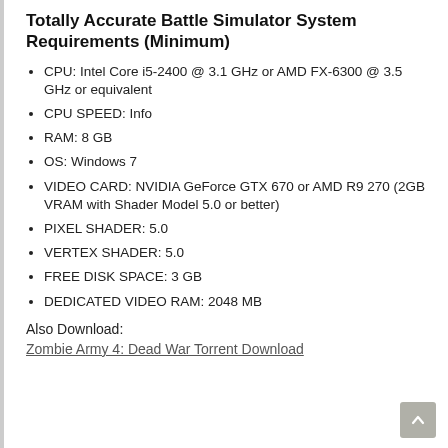Totally Accurate Battle Simulator System Requirements (Minimum)
CPU: Intel Core i5-2400 @ 3.1 GHz or AMD FX-6300 @ 3.5 GHz or equivalent
CPU SPEED: Info
RAM: 8 GB
OS: Windows 7
VIDEO CARD: NVIDIA GeForce GTX 670 or AMD R9 270 (2GB VRAM with Shader Model 5.0 or better)
PIXEL SHADER: 5.0
VERTEX SHADER: 5.0
FREE DISK SPACE: 3 GB
DEDICATED VIDEO RAM: 2048 MB
Also Download:
Zombie Army 4: Dead War Torrent Download